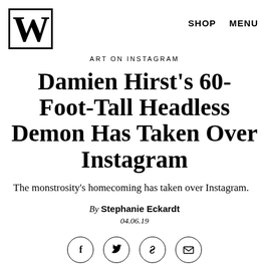W  SHOP  MENU
ART ON INSTAGRAM
Damien Hirst's 60-Foot-Tall Headless Demon Has Taken Over Instagram
The monstrosity's homecoming has taken over Instagram.
By Stephanie Eckardt
04.06.19
[Figure (infographic): Four social sharing icons in circles: Facebook (f), Twitter (bird), Link (chain link), Email (envelope)]